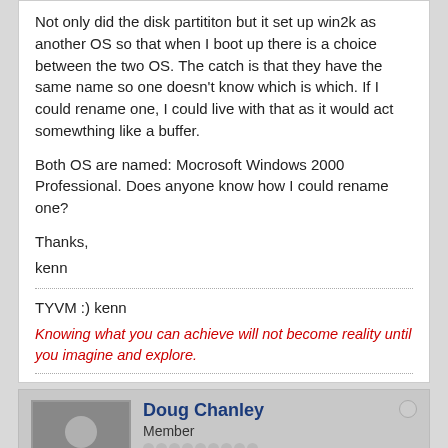Not only did the disk partititon but it set up win2k as another OS so that when I boot up there is a choice between the two OS. The catch is that they have the same name so one doesn't know which is which. If I could rename one, I could live with that as it would act somewthing like a buffer.
Both OS are named: Mocrosoft Windows 2000 Professional. Does anyone know how I could rename one?
Thanks,
kenn
TYVM :) kenn
Knowing what you can achieve will not become reality until you imagine and explore.
Doug Chanley
Member
Join Date: Apr 2000   Posts: 563
05-26-2002, 01:36 PM
#5